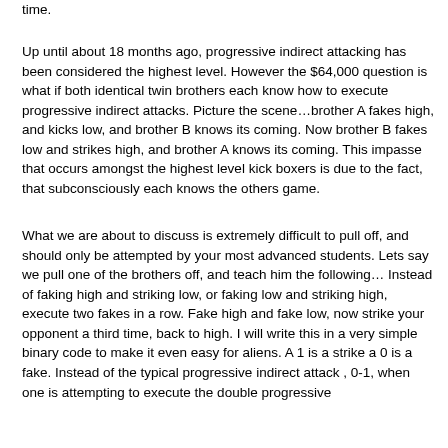time.
Up until about 18 months ago, progressive indirect attacking has been considered the highest level. However the $64,000 question is what if both identical twin brothers each know how to execute progressive indirect attacks. Picture the scene…brother A fakes high, and kicks low, and brother B knows its coming. Now brother B fakes low and strikes high, and brother A knows its coming. This impasse that occurs amongst the highest level kick boxers is due to the fact, that subconsciously each knows the others game.
What we are about to discuss is extremely difficult to pull off, and should only be attempted by your most advanced students. Lets say we pull one of the brothers off, and teach him the following… Instead of faking high and striking low, or faking low and striking high, execute two fakes in a row. Fake high and fake low, now strike your opponent a third time, back to high. I will write this in a very simple binary code to make it even easy for aliens. A 1 is a strike a 0 is a fake. Instead of the typical progressive indirect attack , 0-1, when one is attempting to execute the double progressive